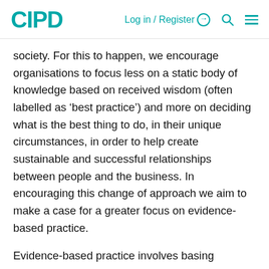CIPD   Log in / Register   Search   Menu
society. For this to happen, we encourage organisations to focus less on a static body of knowledge based on received wisdom (often labelled as ‘best practice’) and more on deciding what is the best thing to do, in their unique circumstances, in order to help create sustainable and successful relationships between people and the business. In encouraging this change of approach we aim to make a case for a greater focus on evidence-based practice.
Evidence-based practice involves basing decisions on scientific evidence as well as organisational data, stakeholder views and professional expertise. We all use evidence to inform decisions, but there are several fundamental things we need to do (and unfortunately they are easy to get wrong).